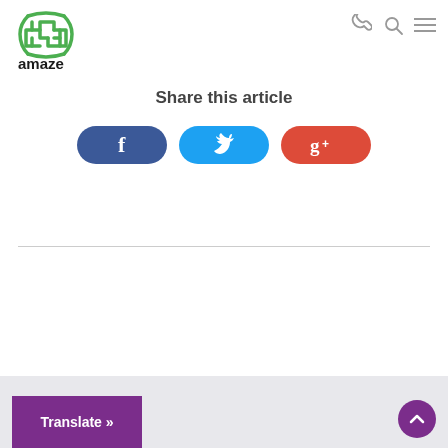[Figure (logo): Amaze company logo — circular green maze pattern with 'amaze' text in black below]
[Figure (infographic): Navigation icons: phone, search magnifier, hamburger menu]
Share this article
[Figure (infographic): Three social sharing buttons: Facebook (dark blue, f icon), Twitter (light blue, bird icon), Google+ (red, g+ icon)]
[Figure (infographic): Translate button (purple, 'Translate »') and back-to-top arrow button (purple circle)]